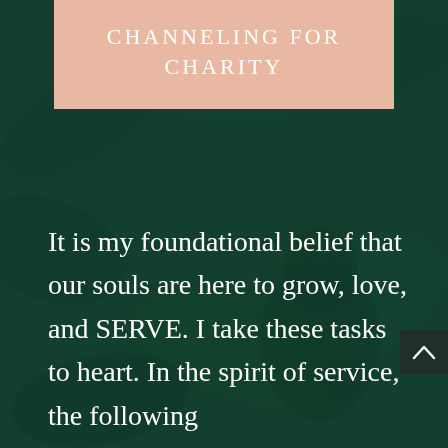CHANNELING FOR CHARITY
It is my foundational belief that our souls are here to grow, love, and SERVE. I take these tasks to heart. In the spirit of service, the following